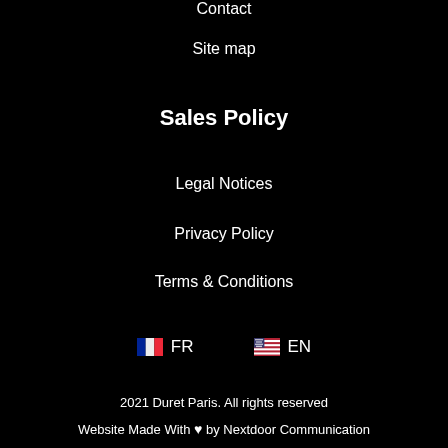Contact
Site map
Sales Policy
Legal Notices
Privacy Policy
Terms & Conditions
FR  EN
2021 Duret Paris. All rights reserved
Website Made With ♥ by Nextdoor Communication